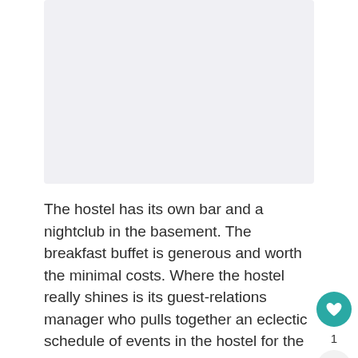[Figure (photo): A photograph placeholder with light grey background representing a hostel image]
The hostel has its own bar and a nightclub in the basement. The breakfast buffet is generous and worth the minimal costs. Where the hostel really shines is its guest-relations manager who pulls together an eclectic schedule of events in the hostel for the guests. Being a large hostel with large groups often coming in, the manager keeps an